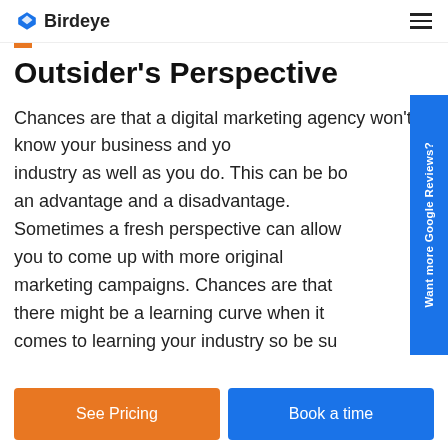Birdeye
Outsider's Perspective
Chances are that a digital marketing agency won't know your business and your industry as well as you do. This can be both an advantage and a disadvantage. Sometimes a fresh perspective can allow you to come up with more original marketing campaigns. Chances are that there might be a learning curve when it comes to learning your industry so be su…
Want more Google Reviews?
See Pricing
Book a time